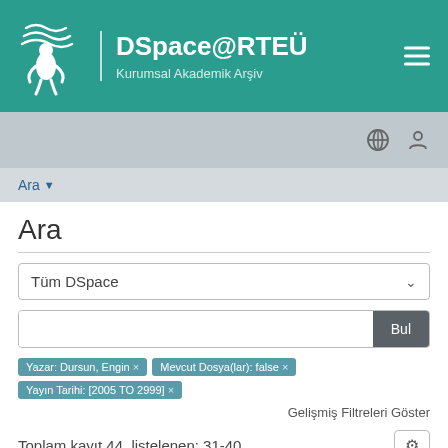DSpace@RTEÜ Kurumsal Akademik Arşiv
Ara
Tüm DSpace
Yazar: Dursun, Engin × | Mevcut Dosya(lar): false × | Yayın Tarihi: [2005 TO 2999] ×
Gelişmiş Filtreleri Göster
Toplam kayıt 44, listelenen: 31-40
Kurusıkı Silah ile İntihar Girişimine Bağlı Yumuşak